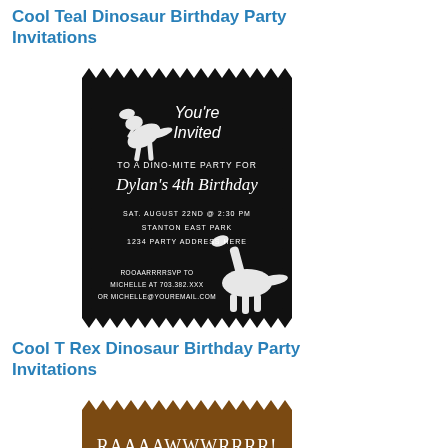Cool Teal Dinosaur Birthday Party Invitations
[Figure (illustration): Black birthday party invitation card with jagged/zigzag border, white dinosaur silhouettes, text 'You're Invited TO A DINO-MITE PARTY FOR Dylan's 4th Birthday SAT. AUGUST 22ND @ 2:30 PM STANTON EAST PARK 1234 PARTY ADDRESS HERE ROOAARRRRSVP TO MICHELLE AT 703.382.XXX OR MICHELLE@YOUREMAIL.COM']
Cool T Rex Dinosaur Birthday Party Invitations
[Figure (illustration): Brown/tan birthday party invitation card with jagged/zigzag border, T-Rex dinosaur silhouette, text 'RAAAAWWWRRRR!' in white]